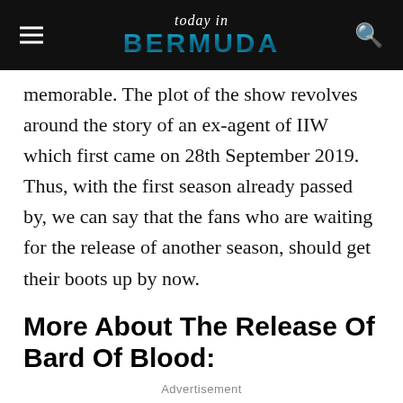today in BERMUDA
memorable. The plot of the show revolves around the story of an ex-agent of IIW which first came on 28th September 2019. Thus, with the first season already passed by, we can say that the fans who are waiting for the release of another season, should get their boots up by now.
More About The Release Of Bard Of Blood:
Advertisement